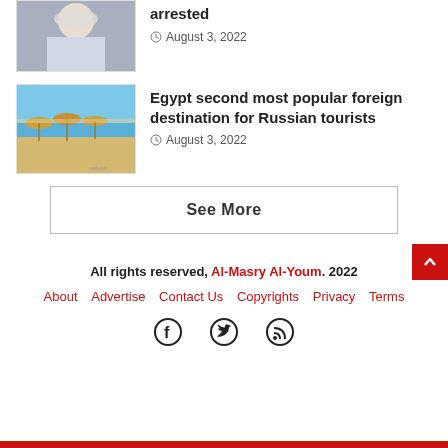[Figure (photo): Portrait thumbnail of a woman in white headscarf]
arrested
August 3, 2022
[Figure (photo): Beach scene with umbrellas and parasols by the sea]
Egypt second most popular foreign destination for Russian tourists
August 3, 2022
See More
All rights reserved, Al-Masry Al-Youm. 2022
About  Advertise  Contact Us  Copyrights  Privacy  Terms